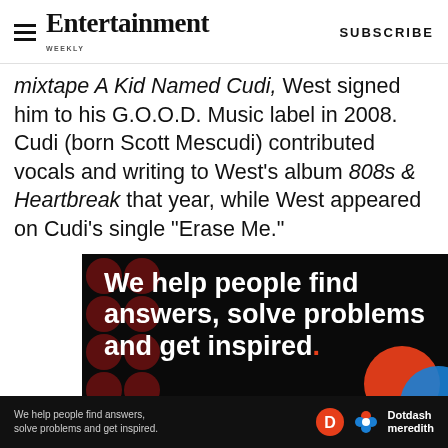Entertainment Weekly — SUBSCRIBE
mixtape A Kid Named Cudi, West signed him to his G.O.O.D. Music label in 2008. Cudi (born Scott Mescudi) contributed vocals and writing to West's album 808s & Heartbreak that year, while West appeared on Cudi's single "Erase Me."
[Figure (infographic): Advertisement banner with dark background and dark red polka dots. Text reads: 'We help people find answers, solve problems and get inspired.' with a 'LEARN MORE' call to action and Dotdash Meredith icons.]
[Figure (infographic): Footer advertisement bar: 'We help people find answers, solve problems and get inspired.' with Dotdash Meredith logo and D icon.]